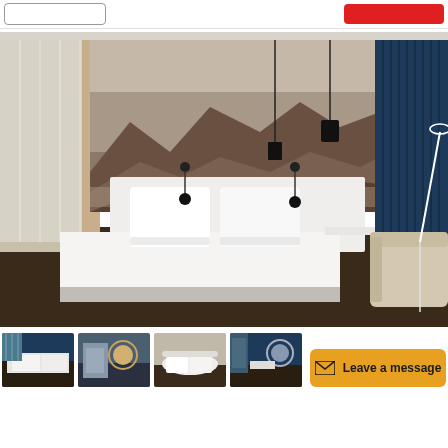[Figure (screenshot): Top navigation bar with outline button on left and red button on right]
[Figure (photo): Hotel room interior with a double bed featuring white bedding, a large panoramic mountain mural on the wall, pendant lights, wall-mounted reading lamps, a cream/beige armchair on the right, blue curtains on the far right wall, and sheer white curtains on the left window.]
[Figure (photo): Thumbnail 1: hotel room with blue tones]
[Figure (photo): Thumbnail 2: bathroom or room detail with circular mirror]
[Figure (photo): Thumbnail 3: bed with arched headboard]
[Figure (photo): Thumbnail 4: room with circular mirror and blue accents]
[Figure (screenshot): Leave a message button in orange/amber color with envelope icon]